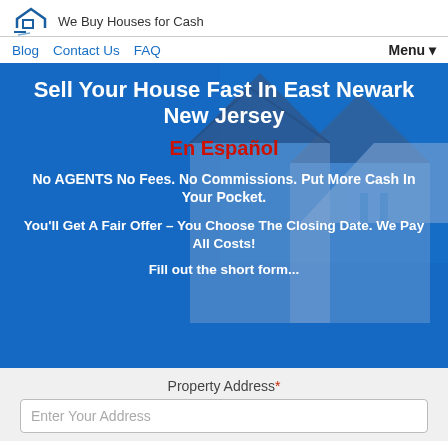We Buy Houses for Cash
Blog  Contact Us  FAQ  Menu ▾
Sell Your House Fast In East Newark New Jersey
En Español
No AGENTS No Fees. No Commissions. Put More Cash In Your Pocket.
You'll Get A Fair Offer – You Choose The Closing Date. We Pay All Costs!
Fill out the short form...
Property Address*
Enter Your Address